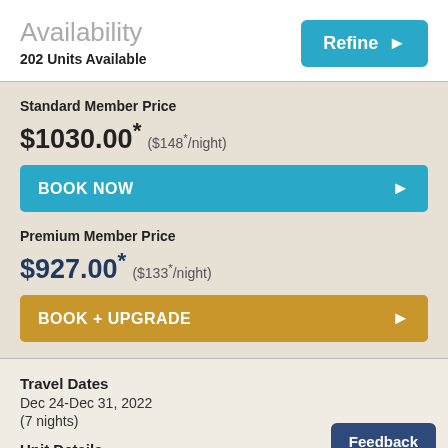Availability
202 Units Available
Refine
Standard Member Price
$1030.00* ($148*/night)
BOOK NOW
Premium Member Price
$927.00* ($133*/night)
BOOK + UPGRADE
Travel Dates
Dec 24-Dec 31, 2022
(7 nights)
Unit Details
Feedback